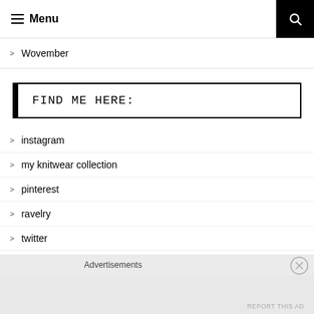Menu
Wovember
FIND ME HERE:
instagram
my knitwear collection
pinterest
ravelry
twitter
Advertisements
REPORT THIS AD